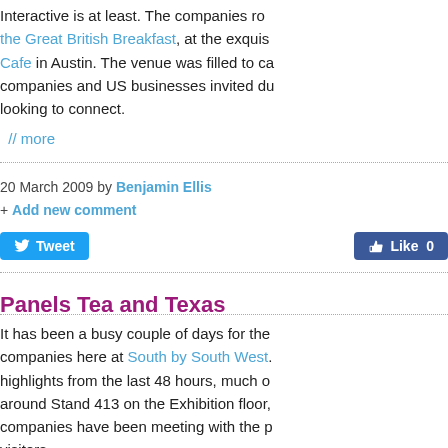Interactive is at least. The companies ro... the Great British Breakfast, at the exquis... Cafe in Austin. The venue was filled to ca... companies and US businesses invited du... looking to connect.
// more
20 March 2009 by Benjamin Ellis
+ Add new comment
Tweet   Like 0
Panels Tea and Texas
It has been a busy couple of days for the companies here at South by South West... highlights from the last 48 hours, much o... around Stand 413 on the Exhibition floor,... companies have been meeting with the p... visitors.